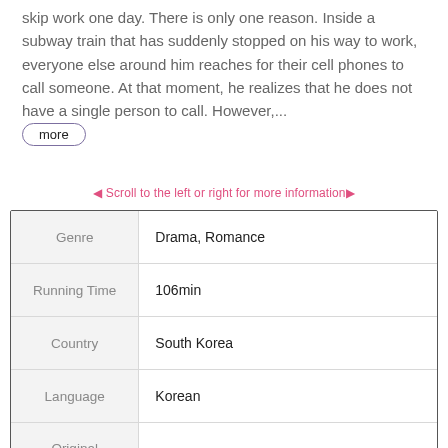skip work one day. There is only one reason. Inside a subway train that has suddenly stopped on his way to work, everyone else around him reaches for their cell phones to call someone. At that moment, he realizes that he does not have a single person to call. However,...
more
◀ Scroll to the left or right for more information▶
|  |  |
| --- | --- |
| Genre | Drama, Romance |
| Running Time | 106min |
| Country | South Korea |
| Language | Korean |
| Original |  |